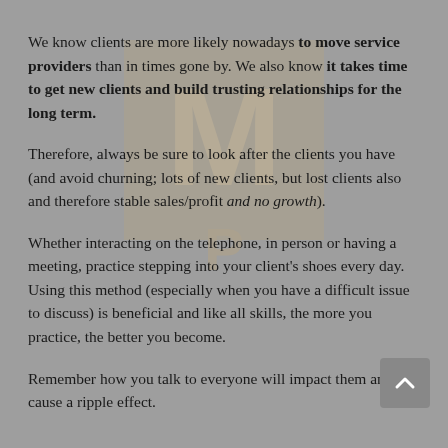We know clients are more likely nowadays to move service providers than in times gone by. We also know it takes time to get new clients and build trusting relationships for the long term.
Therefore, always be sure to look after the clients you have (and avoid churning; lots of new clients, but lost clients also and therefore stable sales/profit and no growth).
Whether interacting on the telephone, in person or having a meeting, practice stepping into your client's shoes every day. Using this method (especially when you have a difficult issue to discuss) is beneficial and like all skills, the more you practice, the better you become.
Remember how you talk to everyone will impact them and cause a ripple effect.